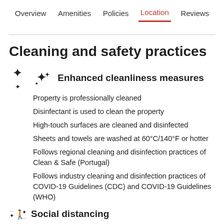Overview   Amenities   Policies   Location   Reviews
Cleaning and safety practices
Enhanced cleanliness measures
Property is professionally cleaned
Disinfectant is used to clean the property
High-touch surfaces are cleaned and disinfected
Sheets and towels are washed at 60°C/140°F or hotter
Follows regional cleaning and disinfection practices of Clean & Safe (Portugal)
Follows industry cleaning and disinfection practices of COVID-19 Guidelines (CDC) and COVID-19 Guidelines (WHO)
Social distancing